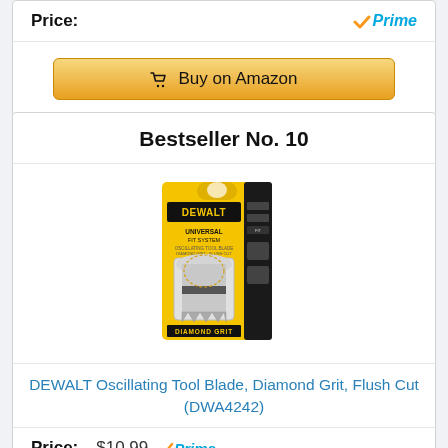Price:
[Figure (logo): Amazon Prime checkmark logo with text 'Prime' in blue italic]
Buy on Amazon
Bestseller No. 10
[Figure (photo): DEWALT Oscillating Tool Blade Diamond Grit Flush Cut DWA4242 product in yellow and black packaging]
DEWALT Oscillating Tool Blade, Diamond Grit, Flush Cut (DWA4242)
Price: $10.99 Prime